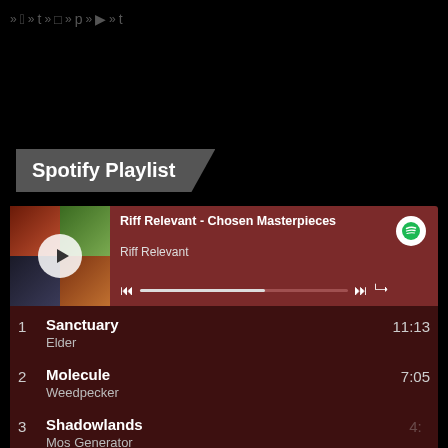>> f >> t >> [instagram] >> p >> [youtube] >> t
Spotify Playlist
[Figure (screenshot): Spotify embedded player showing playlist 'Riff Relevant - Chosen Masterpieces' by Riff Relevant with album art collage and playback controls]
| # | Title / Artist | Duration |
| --- | --- | --- |
| 1 | Sanctuary
Elder | 11:13 |
| 2 | Molecule
Weedpecker | 7:05 |
| 3 | Shadowlands
Mos Generator | 4:?? |
| 4 | Summertime Rolls
Jane's Addiction | 6:16 |